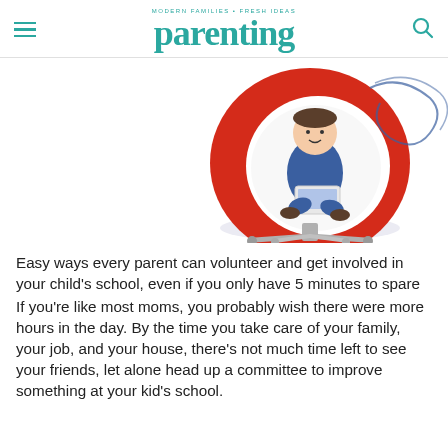MODERN FAMILIES • FRESH IDEAS parenting
[Figure (illustration): Illustration of a child or figure sitting in a red egg-shaped swivel chair with chrome base, with decorative blue swirl elements around them.]
Easy ways every parent can volunteer and get involved in your child's school, even if you only have 5 minutes to spare
If you're like most moms, you probably wish there were more hours in the day. By the time you take care of your family, your job, and your house, there's not much time left to see your friends, let alone head up a committee to improve something at your kid's school.